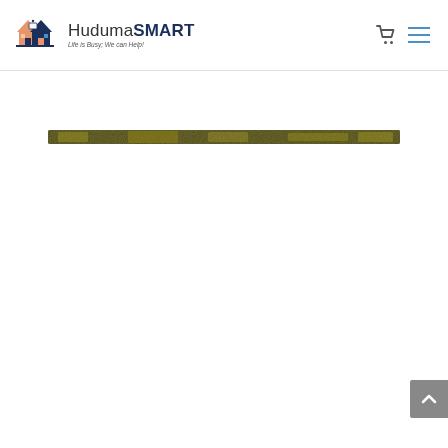[Figure (logo): HudumaSMART logo with house icon and tagline 'Life is Busy; We can Help!']
[Figure (other): Decorative textured/mossy horizontal banner strip]
[Figure (other): Grey back-to-top button with upward chevron arrow in bottom right corner]